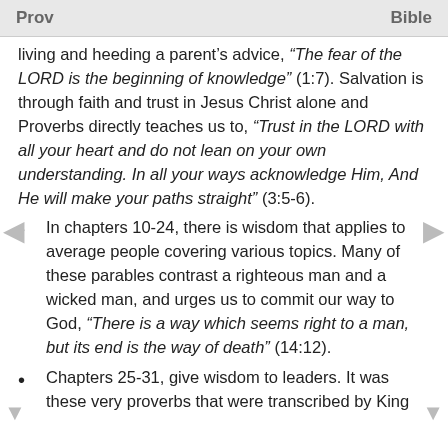Prov    Bible
living and heeding a parent's advice, “The fear of the LORD is the beginning of knowledge” (1:7). Salvation is through faith and trust in Jesus Christ alone and Proverbs directly teaches us to, “Trust in the LORD with all your heart and do not lean on your own understanding. In all your ways acknowledge Him, And He will make your paths straight” (3:5-6).
In chapters 10-24, there is wisdom that applies to average people covering various topics. Many of these parables contrast a righteous man and a wicked man, and urges us to commit our way to God, “There is a way which seems right to a man, but its end is the way of death” (14:12).
Chapters 25-31, give wisdom to leaders. It was these very proverbs that were transcribed by King